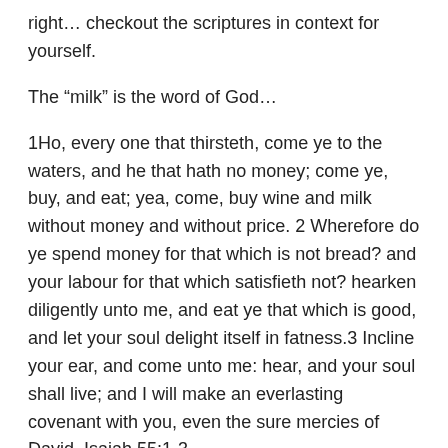right… checkout the scriptures in context for yourself.
The “milk” is the word of God…
1Ho, every one that thirsteth, come ye to the waters, and he that hath no money; come ye, buy, and eat; yea, come, buy wine and milk without money and without price. 2 Wherefore do ye spend money for that which is not bread? and your labour for that which satisfieth not? hearken diligently unto me, and eat ye that which is good, and let your soul delight itself in fatness.3 Incline your ear, and come unto me: hear, and your soul shall live; and I will make an everlasting covenant with you, even the sure mercies of David. Isaiah 55:1-3